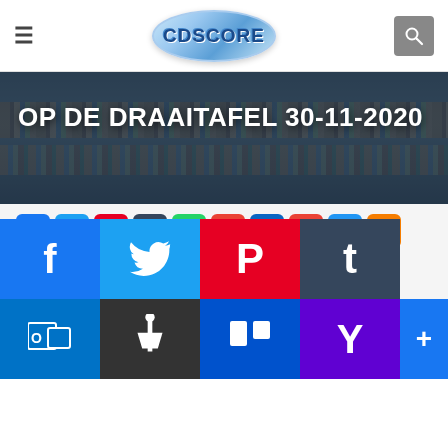CDSCORE navigation header with hamburger menu, CDSCORE logo, and search icon
[Figure (photo): Hero banner with library/bookshelf background in dark blue-grey tone]
OP DE DRAAITAFEL 30-11-2020
[Figure (infographic): Row of social media sharing icons: Facebook, Twitter, Pinterest, Tumblr, WhatsApp, Email, LinkedIn, Gmail, Messenger, Blogger, WordPress, Outlook, Pin, Trello, Yahoo]
[Figure (infographic): Social action buttons: Tweet button, Like button, Plus button]
Playlist op "Tidal"
[Figure (infographic): Large overlay social media icons grid: Facebook, Twitter, Pinterest, Tumblr, WhatsApp, Email, LinkedIn, Gmail, Messenger, Blogger, WordPress, Outlook, Pin, Trello, Yahoo, Plus]